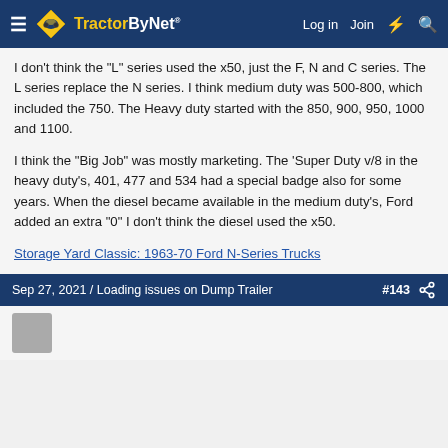TractorByNet — Log in | Join
I don't think the "L" series used the x50, just the F, N and C series. The L series replace the N series. I think medium duty was 500-800, which included the 750. The Heavy duty started with the 850, 900, 950, 1000 and 1100.
I think the "Big Job" was mostly marketing. The 'Super Duty v/8 in the heavy duty's, 401, 477 and 534 had a special badge also for some years. When the diesel became available in the medium duty's, Ford added an extra "0" I don't think the diesel used the x50.
Storage Yard Classic: 1963-70 Ford N-Series Trucks
Sep 27, 2021 / Loading issues on Dump Trailer #143